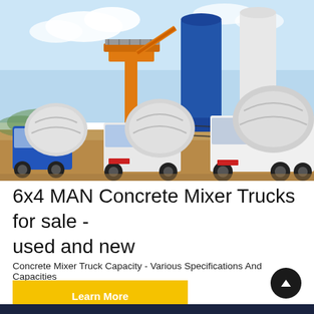[Figure (photo): Photograph of multiple concrete mixer trucks (white and blue) parked at a concrete batching plant with large blue silos and an orange elevated mixing structure against a blue sky.]
6x4 MAN Concrete Mixer Trucks for sale - used and new
Concrete Mixer Truck Capacity - Various Specifications And Capacities